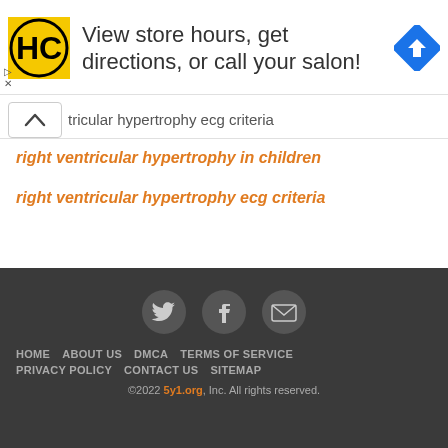[Figure (infographic): Advertisement banner with HC (Hair Club) yellow/black logo on left, text 'View store hours, get directions, or call your salon!' in center, blue diamond-shaped navigation/maps icon on right, with play and X control buttons on lower left]
tricular hypertrophy ecg criteria
right ventricular hypertrophy in children
right ventricular hypertrophy ecg criteria
[Figure (infographic): Footer with dark gray background containing social media icons (Twitter bird, Facebook f, envelope/email), navigation links (HOME, ABOUT US, DMCA, TERMS OF SERVICE, PRIVACY POLICY, CONTACT US, SITEMAP), and copyright text '©2022 5y1.org, Inc. All rights reserved.']
©2022 5y1.org, Inc. All rights reserved.